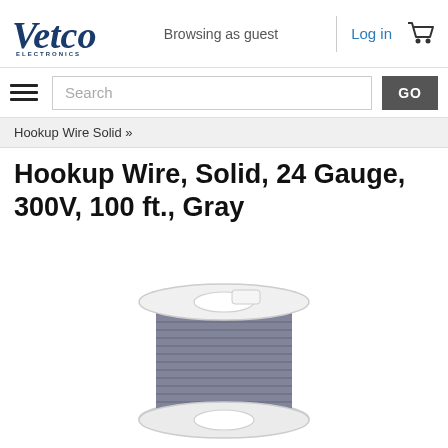Vetco Electronics — Browsing as guest | Log in [cart icon]
Search GO
Hookup Wire Solid »
Hookup Wire, Solid, 24 Gauge, 300V, 100 ft., Gray
[Figure (photo): A spool of gray hookup wire on a white plastic spool, viewed from the front. The wire is wound in multiple layers showing gray insulation.]